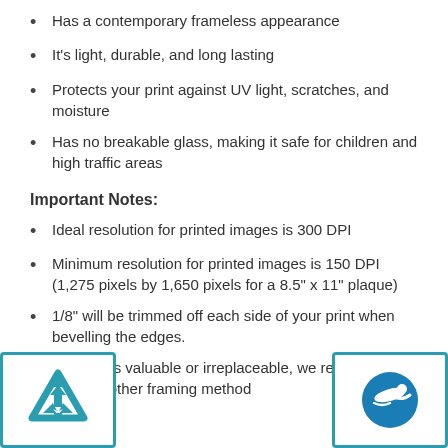Has a contemporary frameless appearance
It's light, durable, and long lasting
Protects your print against UV light, scratches, and moisture
Has no breakable glass, making it safe for children and high traffic areas
Important Notes:
Ideal resolution for printed images is 300 DPI
Minimum resolution for printed images is 150 DPI (1,275 pixels by 1,650 pixels for a 8.5" x 11" plaque)
1/8" will be trimmed off each side of your print when bevelling the edges.
If a print is valuable or irreplaceable, we recommend using another framing method
[Figure (logo): Teal triangular logo on left side]
[Figure (logo): Blue circular logo with swimmer on right side]